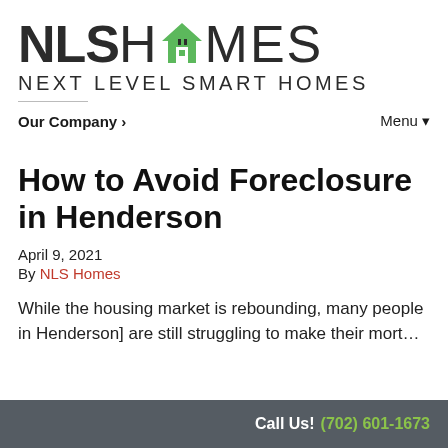[Figure (logo): NLS Homes logo with house icon and tagline NEXT LEVEL SMART HOMES]
Our Company ›    Menu ▾
How to Avoid Foreclosure in Henderson
April 9, 2021
By NLS Homes
While the housing market is rebounding, many people in Henderson] are still struggling to make their mort…
Call Us! (702) 601-1673